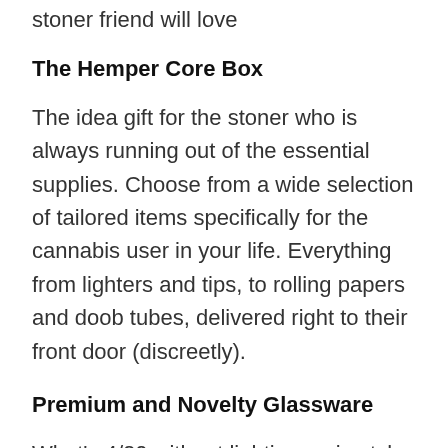stoner friend will love
The Hemper Core Box
The idea gift for the stoner who is always running out of the essential supplies. Choose from a wide selection of tailored items specifically for the cannabis user in your life. Everything from lighters and tips, to rolling papers and doob tubes, delivered right to their front door (discreetly).
Premium and Novelty Glassware
What's 4/20 without lighting up in style.